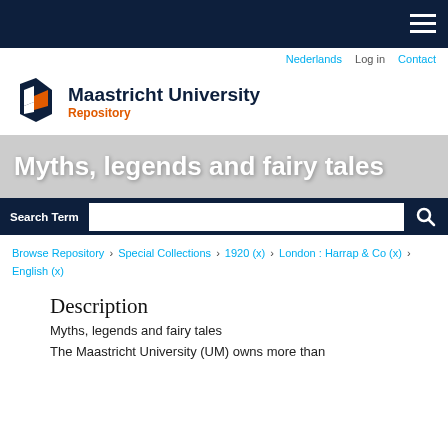Maastricht University Repository
Myths, legends and fairy tales
Browse Repository › Special Collections › 1920 (x) › London : Harrap & Co (x) › English (x)
Description
Myths, legends and fairy tales
The Maastricht University (UM) owns more than